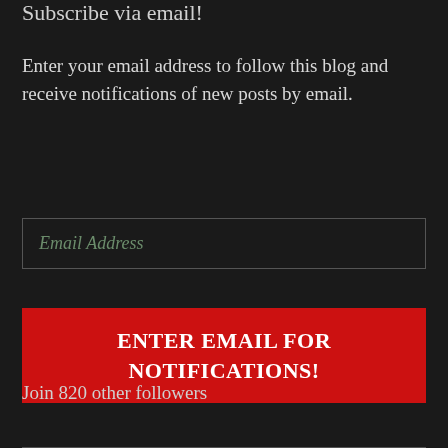Subscribe via email!
Enter your email address to follow this blog and receive notifications of new posts by email.
Email Address
ENTER EMAIL FOR NOTIFICATIONS!
Join 820 other followers